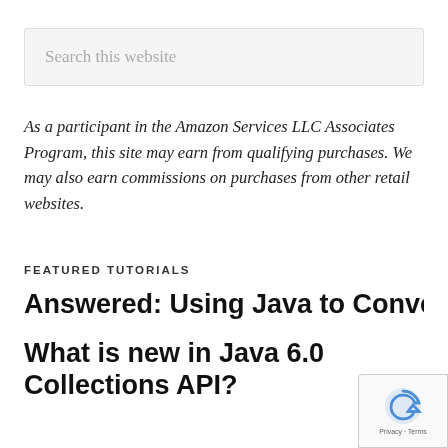Search this website
As a participant in the Amazon Services LLC Associates Program, this site may earn from qualifying purchases. We may also earn commissions on purchases from other retail websites.
FEATURED TUTORIALS
Answered: Using Java to Convert Int to St
What is new in Java 6.0 Collections API?